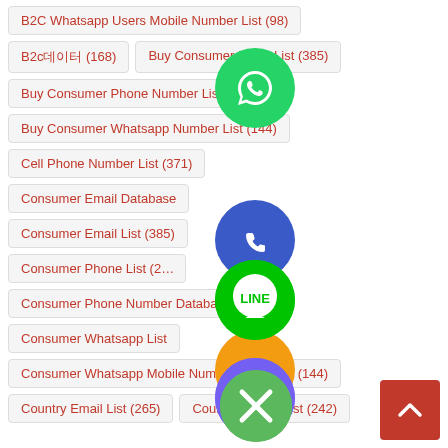B2C Whatsapp Users Mobile Number List (98)
B2c데이터 (168)
Buy Consumer Email List (385)
Buy Consumer Phone Number List (190)
Buy Consumer Whatsapp Number List (144)
Cell Phone Number List (371)
Consumer Email Database
Consumer Email List (385)
Consumer Phone List (2...)
Consumer Phone Number Database (227)
Consumer Whatsapp List
Consumer Whatsapp Mobile Number Database (144)
Country Email List (265)
Country Phone List (242)
[Figure (illustration): Green WhatsApp icon circle floating over content]
[Figure (illustration): Blue phone call icon circle floating over content]
[Figure (illustration): Orange email/envelope icon circle floating over content]
[Figure (illustration): Green LINE messenger icon circle floating over content]
[Figure (illustration): Purple Viber icon circle floating over content]
[Figure (illustration): Green circle with X (close) button floating over content]
[Figure (illustration): Red scroll-to-top button in bottom right corner]